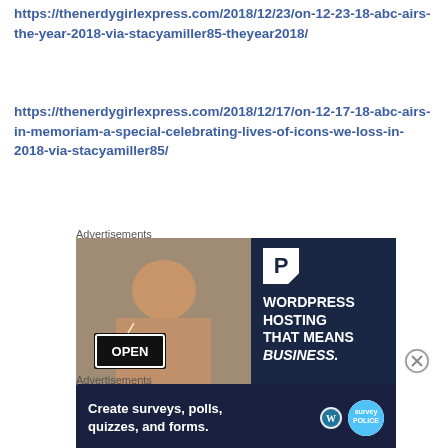https://thenerdygirlexpress.com/2018/12/23/on-12-23-18-abc-airs-the-year-2018-via-stacyamiller85-theyear2018/
https://thenerdygirlexpress.com/2018/12/17/on-12-17-18-abc-airs-in-memoriam-a-special-celebrating-lives-of-icons-we-loss-in-2018-via-stacyamiller85/
Advertisements
[Figure (photo): WordPress hosting advertisement showing a woman holding an OPEN sign with WordPress hosting branding and text 'WORDPRESS HOSTING THAT MEANS BUSINESS.']
Advertisements
[Figure (photo): Survey advertisement with text 'Create surveys, polls, quizzes, and forms.' with WordPress and SurveyPolice logos on dark blue background]